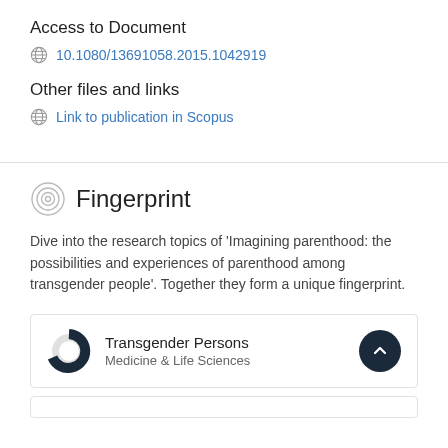Access to Document
10.1080/13691058.2015.1042919
Other files and links
Link to publication in Scopus
Fingerprint
Dive into the research topics of 'Imagining parenthood: the possibilities and experiences of parenthood among transgender people'. Together they form a unique fingerprint.
Transgender Persons
Medicine & Life Sciences